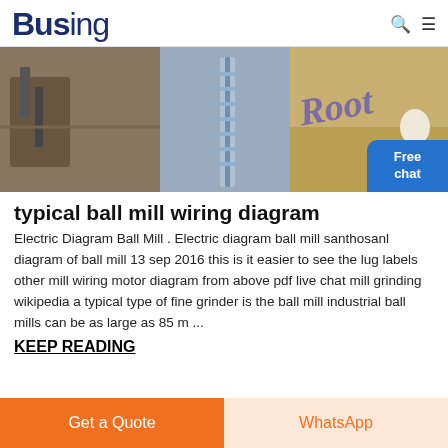Busing
[Figure (photo): Banner image showing industrial machinery, construction equipment, and sawdust/wood chips with a cursive purple logo overlay and a person in white on the right side. Blue 'Free chat' button overlay in bottom right.]
typical ball mill wiring diagram
Electric Diagram Ball Mill . Electric diagram ball mill santhosanl diagram of ball mill 13 sep 2016 this is it easier to see the lug labels other mill wiring motor diagram from above pdf live chat mill grinding wikipedia a typical type of fine grinder is the ball mill industrial ball mills can be as large as 85 m ...
KEEP READING
Get a Quote | WhatsApp